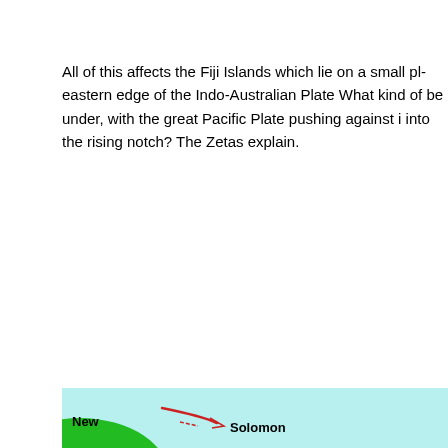All of this affects the Fiji Islands which lie on a small pl eastern edge of the Indo-Australian Plate What kind of be under, with the great Pacific Plate pushing against i into the rising notch? The Zetas explain.
[Figure (map): Partial map banner showing a green landmass labeled 'New' with red arrow lines and the label 'Solomon' on a light cyan background]